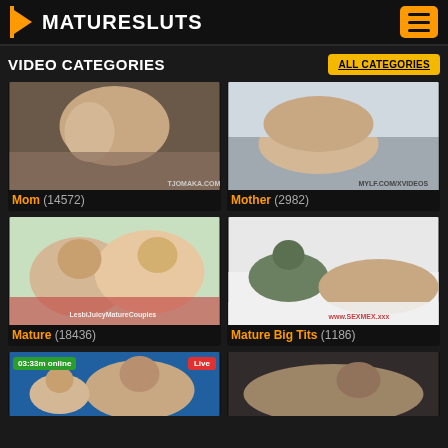MATURESLUTS
VIDEO CATEGORIES
ALL CATEGORIES
[Figure (photo): Video thumbnail for Mom category]
Mom (14572)
[Figure (photo): Video thumbnail for Mother category]
Mother (2982)
[Figure (photo): Video thumbnail for Mature category]
Mature (18436)
[Figure (photo): Video thumbnail for Mature Big Tits category]
Mature Big Tits (1186)
[Figure (photo): Video thumbnail with live badge showing 03:33m online]
[Figure (photo): Video thumbnail partial view at bottom right]